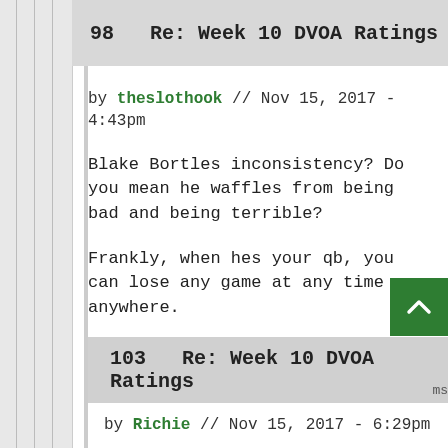98   Re: Week 10 DVOA Ratings
by theslothook // Nov 15, 2017 - 4:43pm
Blake Bortles inconsistency? Do you mean he waffles from being bad and being terrible?
Frankly, when hes your qb, you can lose any game at any time anywhere.
Login or register to post comments
103   Re: Week 10 DVOA Ratings
by Richie // Nov 15, 2017 - 6:29pm